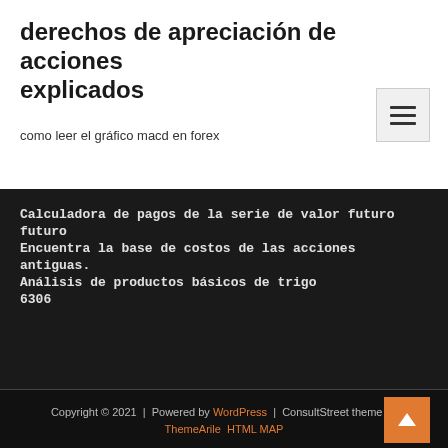derechos de apreciación de acciones explicados
como leer el gráfico macd en forex
Calculadora de pagos de la serie de valor futuro futuro
Encuentra la base de costos de las acciones antiguas.
Análisis de productos básicos de trigo
6306
Copyright © 2021 | Powered by WordPress | ConsultStreet theme by ThemeArile HTML MAP